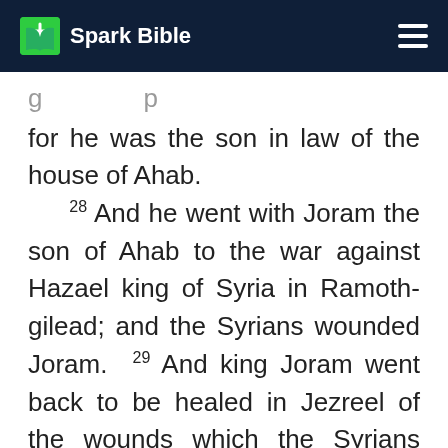Spark Bible
for he was the son in law of the house of Ahab.
28 And he went with Joram the son of Ahab to the war against Hazael king of Syria in Ramoth-gilead; and the Syrians wounded Joram. 29 And king Joram went back to be healed in Jezreel of the wounds which the Syrians had given him at Ramah, when he fought against Hazael king of Syria. And Ahaziah the son of